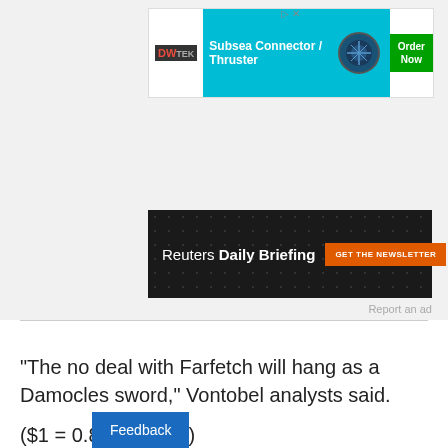[Figure (other): DWTEK Subsea Connector / Thruster advertisement banner with teal background and Order Now green button]
[Figure (other): Reuters Daily Briefing newsletter advertisement on dark background with GET THE NEWSLETTER orange button]
Report an ad
"The no deal with Farfetch will hang as a Damocles sword," Vontobel analysts said.
($1 = 0.8451 euros)
Feedback